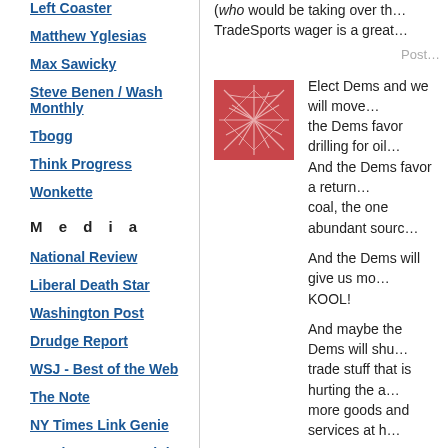Left Coaster
Matthew Yglesias
Max Sawicky
Steve Benen / Wash Monthly
Tbogg
Think Progress
Wonkette
M e d i a
National Review
Liberal Death Star
Washington Post
Drudge Report
WSJ - Best of the Web
The Note
NY Times Link Genie
NY Times Perma-Links
My Way
(who would be taking over th... TradeSports wager is a great...
Posted by
[Figure (illustration): Red/pink square avatar with a starburst/web pattern]
Elect Dems and we will move... the Dems favor drilling for oil... And the Dems favor a return... coal, the one abundant sourc...
And the Dems will give us mo... KOOL!
And maybe the Dems will shu... trade stuff that is hurting the a... more goods and services at h...
[Figure (illustration): Green square avatar with a starburst/web pattern]
I take little comfort in the supp... only take 5 of the 16 toss-ups...
I would guess that the toss-u... way and that if they do you w... of the toss-ups.